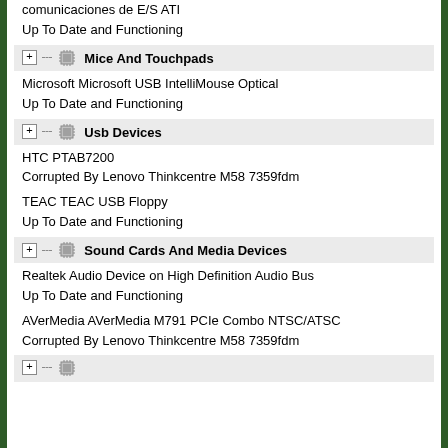comunicaciones de E/S ATI
Up To Date and Functioning
Mice And Touchpads
Microsoft Microsoft USB IntelliMouse Optical
Up To Date and Functioning
Usb Devices
HTC PTAB7200
Corrupted By Lenovo Thinkcentre M58 7359fdm
TEAC TEAC USB Floppy
Up To Date and Functioning
Sound Cards And Media Devices
Realtek Audio Device on High Definition Audio Bus
Up To Date and Functioning
AVerMedia AVerMedia M791 PCIe Combo NTSC/ATSC
Corrupted By Lenovo Thinkcentre M58 7359fdm